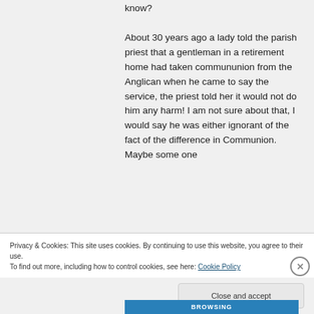know? About 30 years ago a lady told the parish priest that a gentleman in a retirement home had taken commununion from the Anglican when he came to say the service, the priest told her it would not do him any harm! I am not sure about that, I would say he was either ignorant of the fact of the difference in Communion. Maybe some one
Privacy & Cookies: This site uses cookies. By continuing to use this website, you agree to their use. To find out more, including how to control cookies, see here: Cookie Policy
Close and accept